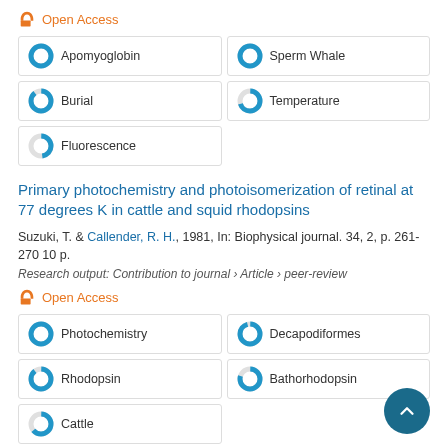Open Access
Apomyoglobin
Sperm Whale
Burial
Temperature
Fluorescence
Primary photochemistry and photoisomerization of retinal at 77 degrees K in cattle and squid rhodopsins
Suzuki, T. & Callender, R. H., 1981, In: Biophysical journal. 34, 2, p. 261-270 10 p.
Research output: Contribution to journal › Article › peer-review
Open Access
Photochemistry
Decapodiformes
Rhodopsin
Bathorhodopsin
Cattle